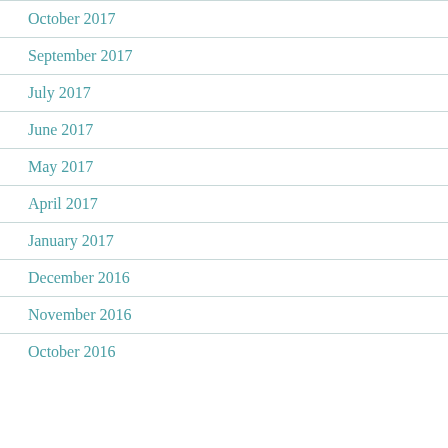October 2017
September 2017
July 2017
June 2017
May 2017
April 2017
January 2017
December 2016
November 2016
October 2016